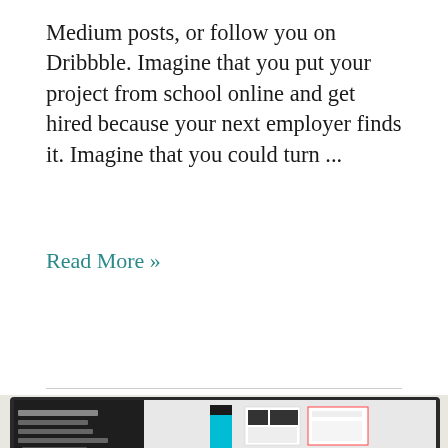Medium posts, or follow you on Dribbble. Imagine that you put your project from school online and get hired because your next employer finds it. Imagine that you could turn ...
Read More »
[Figure (photo): A MacBook Pro laptop showing a design tool (likely Figma or similar UI design software) with a dark sidebar panel on the left listing layers and components, and a canvas area with UI mockups, color bars, and wireframes visible on the screen. A green cable is visible in the foreground bottom left.]